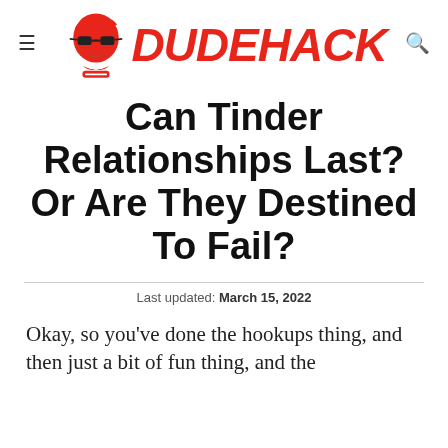DUDEHACK
Can Tinder Relationships Last? Or Are They Destined To Fail?
Last updated: March 15, 2022
Okay, so you've done the hookups thing, and then just a bit of fun thing, and the